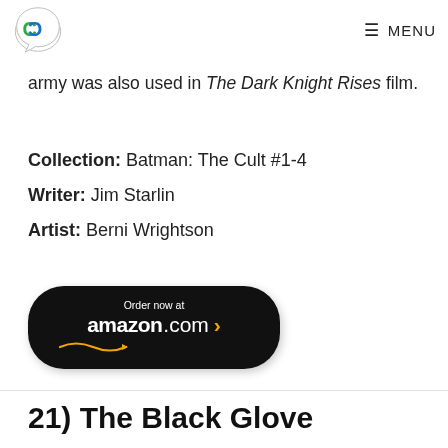CC MENU
army was also used in The Dark Knight Rises film.
Collection: Batman: The Cult #1-4
Writer: Jim Starlin
Artist: Berni Wrightson
[Figure (other): Amazon.com 'Order now' button in black with yellow smile arrow]
21) The Black Glove